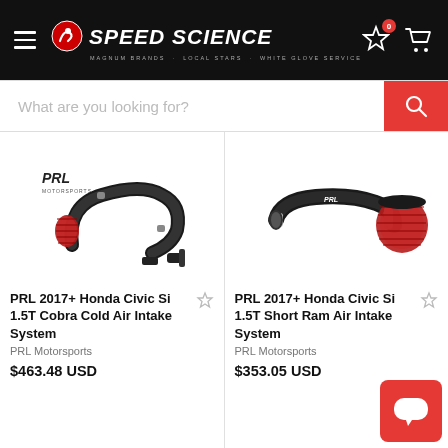[Figure (logo): Speed Science logo with hamburger menu on black header bar with star/cart icons]
What are you looking for?
[Figure (photo): PRL Motorsports black cobra cold air intake system with red cone filter]
PRL 2017+ Honda Civic Si 1.5T Cobra Cold Air Intake System
PRL Motorsports
$463.48 USD
[Figure (photo): PRL Motorsports black short ram air intake system with red cone filter]
PRL 2017+ Honda Civic Si 1.5T Short Ram Air Intake System
PRL Motorsports
$353.05 USD